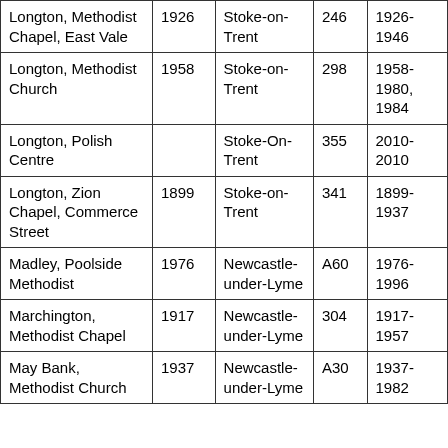| Longton, Methodist Chapel, East Vale | 1926 | Stoke-on-Trent | 246 | 1926-1946 |
| Longton, Methodist Church | 1958 | Stoke-on-Trent | 298 | 1958-1980, 1984 |
| Longton, Polish Centre |  | Stoke-On-Trent | 355 | 2010-2010 |
| Longton, Zion Chapel, Commerce Street | 1899 | Stoke-on-Trent | 341 | 1899-1937 |
| Madley, Poolside Methodist | 1976 | Newcastle-under-Lyme | A60 | 1976-1996 |
| Marchington, Methodist Chapel | 1917 | Newcastle-under-Lyme | 304 | 1917-1957 |
| May Bank, Methodist Church | 1937 | Newcastle-under-Lyme | A30 | 1937-1982 |